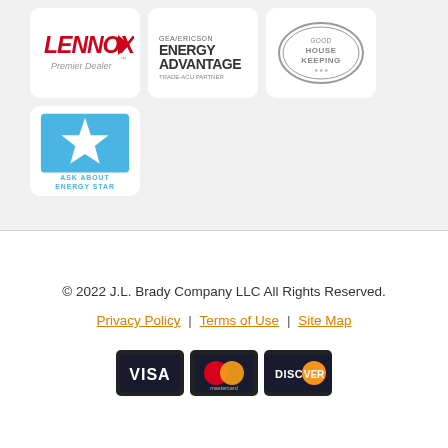[Figure (logo): Lennox Premier Dealer logo]
[Figure (logo): GEA/ERICSON Energy Advantage Trade-ACU Partner logo]
[Figure (logo): Good Housekeeping seal logo]
[Figure (logo): Energy Star - Ask About Energy Star logo]
© 2022 J.L. Brady Company LLC All Rights Reserved.
Privacy Policy | Terms of Use | Site Map
[Figure (other): Payment icons: VISA, Mastercard, Discover]